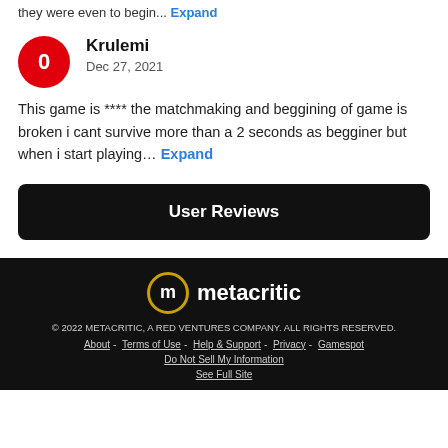they were even to begin... Expand
Krulemi
Dec 27, 2021
This game is **** the matchmaking and beggining of game is broken i cant survive more than a 2 seconds as begginer but when i start playing… Expand
User Reviews
[Figure (logo): Metacritic logo with golden circle containing letter m and white text 'metacritic']
© 2022 METACRITIC, A RED VENTURES COMPANY. ALL RIGHTS RESERVED.
About - Terms of Use - Help & Support - Privacy - Gamespot
Do Not Sell My Information
See Full Site